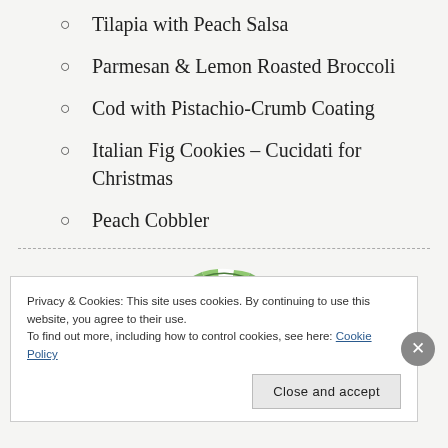Tilapia with Peach Salsa
Parmesan & Lemon Roasted Broccoli
Cod with Pistachio-Crumb Coating
Italian Fig Cookies – Cucidati for Christmas
Peach Cobbler
[Figure (logo): Green sunburst/fan logo at bottom center of page]
Privacy & Cookies: This site uses cookies. By continuing to use this website, you agree to their use.
To find out more, including how to control cookies, see here: Cookie Policy